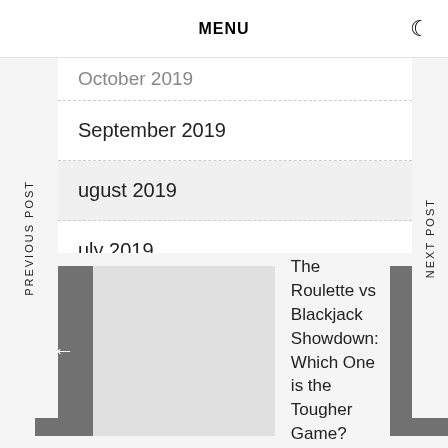MENU
October 2019
September 2019
August 2019
July 2019
June 2019
May 2019
PREVIOUS POST
NEXT POST
The Roulette vs Blackjack Showdown: Which One is the Tougher Game?